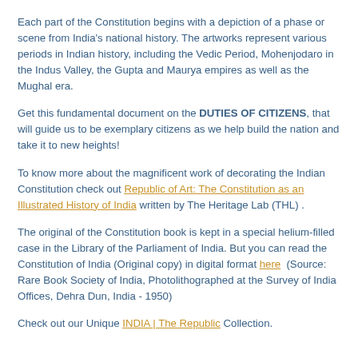Each part of the Constitution begins with a depiction of a phase or scene from India's national history. The artworks represent various periods in Indian history, including the Vedic Period, Mohenjodaro in the Indus Valley, the Gupta and Maurya empires as well as the Mughal era.
Get this fundamental document on the DUTIES OF CITIZENS, that will guide us to be exemplary citizens as we help build the nation and take it to new heights!
To know more about the magnificent work of decorating the Indian Constitution check out Republic of Art: The Constitution as an Illustrated History of India written by The Heritage Lab (THL).
The original of the Constitution book is kept in a special helium-filled case in the Library of the Parliament of India. But you can read the Constitution of India (Original copy) in digital format here (Source: Rare Book Society of India, Photolithographed at the Survey of India Offices, Dehra Dun, India - 1950)
Check out our Unique INDIA | The Republic Collection.